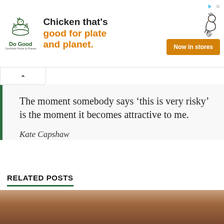[Figure (other): Advertisement banner for Do Good Chicken brand. Logo on left with chicken illustration, tagline 'Chicken that's good for plate and planet.' in center, orange 'Now in stores' CTA button on right, small chicken icons top right.]
The moment somebody says ‘this is very risky’ is the moment it becomes attractive to me.
Kate Capshaw
RELATED POSTS
[Figure (photo): Partial photo of a person with brown hair, cropped at bottom of page.]